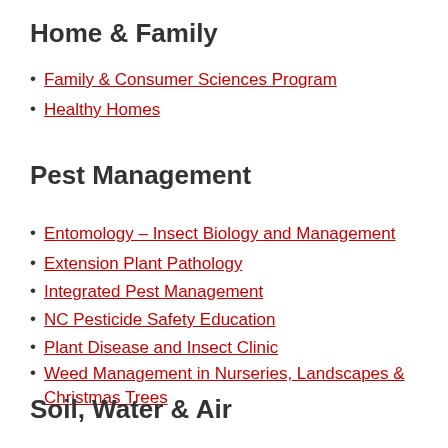Home & Family
Family & Consumer Sciences Program
Healthy Homes
Pest Management
Entomology – Insect Biology and Management
Extension Plant Pathology
Integrated Pest Management
NC Pesticide Safety Education
Plant Disease and Insect Clinic
Weed Management in Nurseries, Landscapes & Christmas Trees
Soil, Water & Air
Soil Fertility
Water Resources
Specialty C…